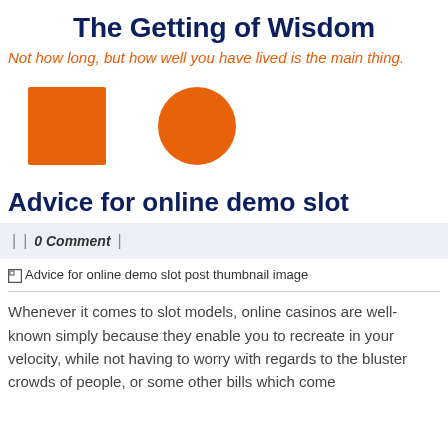The Getting of Wisdom
Not how long, but how well you have lived is the main thing.
[Figure (illustration): Two orange shapes: a filled square on the left and a filled circle on the right.]
Advice for online demo slot
| | 0 Comment |
[Figure (photo): Broken image placeholder: Advice for online demo slot post thumbnail image]
Whenever it comes to slot models, online casinos are well-known simply because they enable you to recreate in your velocity, while not having to worry with regards to the bluster crowds of people, or some other bills which come